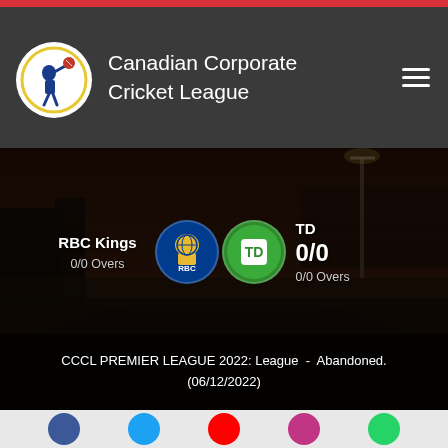Canadian Corporate Cricket League
[Figure (screenshot): Cricket stadium background with two team match scorecard overlay showing RBC Kings vs TD, both 0/0 Overs, match abandoned on 06/12/2022]
RBC Kings
0/0 Overs
TD
0/0
0/0 Overs
CCCL PREMIER LEAGUE 2022: League - Abandoned.
(06/12/2022)